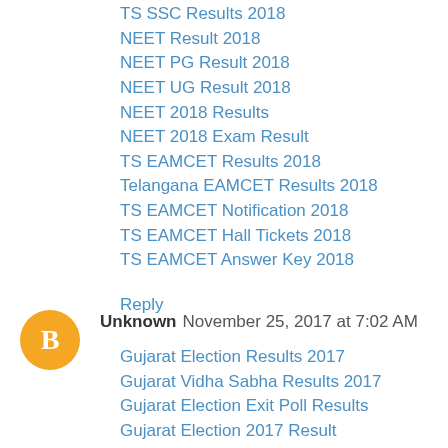TS SSC Results 2018
NEET Result 2018
NEET PG Result 2018
NEET UG Result 2018
NEET 2018 Results
NEET 2018 Exam Result
TS EAMCET Results 2018
Telangana EAMCET Results 2018
TS EAMCET Notification 2018
TS EAMCET Hall Tickets 2018
TS EAMCET Answer Key 2018
Reply
Unknown  November 25, 2017 at 7:02 AM
Gujarat Election Results 2017
Gujarat Vidha Sabha Results 2017
Gujarat Election Exit Poll Results
Gujarat Election 2017 Result
Gujarat Election 2017
Himachal Pradesh Election Results 2017